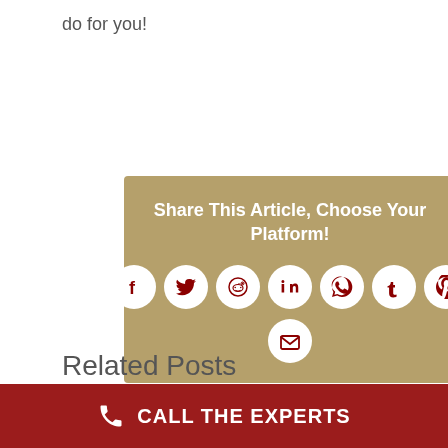do for you!
[Figure (infographic): Share This Article social sharing widget with icons for Facebook, Twitter, Reddit, LinkedIn, WhatsApp, Tumblr, Pinterest, and Email on a tan/gold background]
Related Posts
CALL THE EXPERTS